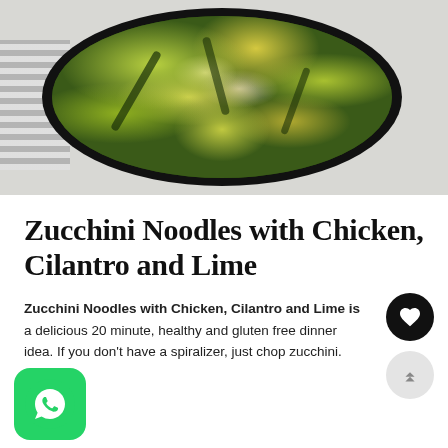[Figure (photo): Overhead photo of a cast iron skillet filled with zucchini noodles, chicken pieces, and corn kernels, placed on a striped cloth napkin against a light grey background.]
Zucchini Noodles with Chicken, Cilantro and Lime
Zucchini Noodles with Chicken, Cilantro and Lime is a delicious 20 minute, healthy and gluten free dinner idea. If you don't have a spiralizer, just chop zucchini.